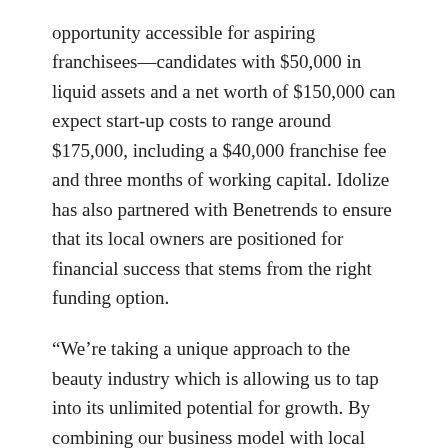opportunity accessible for aspiring franchisees—candidates with $50,000 in liquid assets and a net worth of $150,000 can expect start-up costs to range around $175,000, including a $40,000 franchise fee and three months of working capital. Idolize has also partnered with Benetrends to ensure that its local owners are positioned for financial success that stems from the right funding option.
“We’re taking a unique approach to the beauty industry which is allowing us to tap into its unlimited potential for growth. By combining our business model with local owners who know their own neighborhoods, we’re creating something special that franchisees and customers will both want to